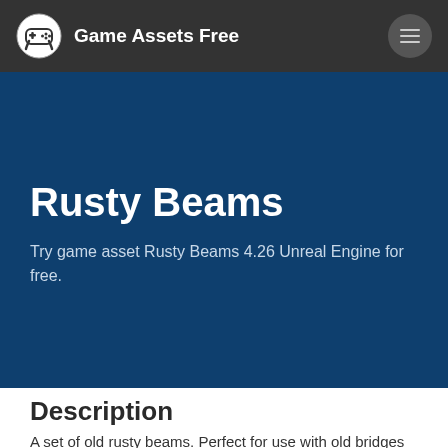Game Assets Free
Rusty Beams
Try game asset Rusty Beams 4.26 Unreal Engine for free.
Description
A set of old rusty beams. Perfect for use with old bridges